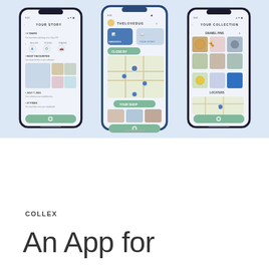[Figure (screenshot): Three smartphone screenshots of the COLLEX app showing: (1) 'YOUR STORY' screen with timeline entries and collectible images, (2) 'THELOVEBUG' map screen showing nearby items and 'YOUR SHOP' section with collectible thumbnails, (3) 'YOUR COLLECTION' screen showing a grid of collected items with a map at bottom. Each phone has a teal/green action button at the bottom.]
COLLEX
An App for